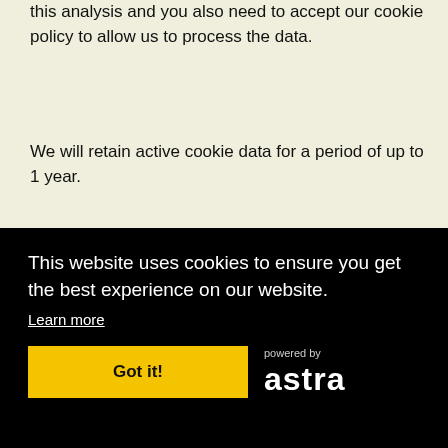this analysis and you also need to accept our cookie policy to allow us to process the data.
We will retain active cookie data for a period of up to 1 year.
Updating these terms
We may change our service and policies, and we may need to make changes to these Terms as they accurately [reflect our services and policies. Unless required by law, we will notify you before we make changes to these Terms and give you an opportunity to review and comment on the revised Terms before you continue to use our Services.] Then, if you continue to use the Service, you will be bound by the updated Terms. If you do not want to agree to these or any updated Terms, you can delete your account.
This website uses cookies to ensure you get the best experience on our website.
Learn more
Got it!
[Figure (logo): powered by astra logo in white on black background]